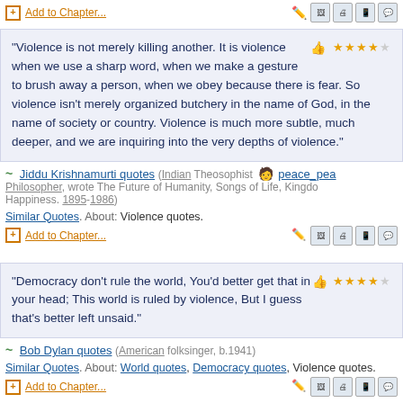+ Add to Chapter...
“Violence is not merely killing another. It is violence when we use a sharp word, when we make a gesture to brush away a person, when we obey because there is fear. So violence isn’t merely organized butchery in the name of God, in the name of society or country. Violence is much more subtle, much deeper, and we are inquiring into the very depths of violence.”
Jiddu Krishnamurti quotes (Indian Theosophist Philosopher, wrote The Future of Humanity, Songs of Life, Kingdom of Happiness. 1895-1986)
Similar Quotes. About: Violence quotes.
+ Add to Chapter...
“Democracy don’t rule the world, You’d better get that in your head; This world is ruled by violence, But I guess that’s better left unsaid.”
Bob Dylan quotes (American folksinger, b.1941)
Similar Quotes. About: World quotes, Democracy quotes, Violence quotes.
+ Add to Chapter...
“Violence isn’t always evil. What’s evil is the infatuation with violence.”